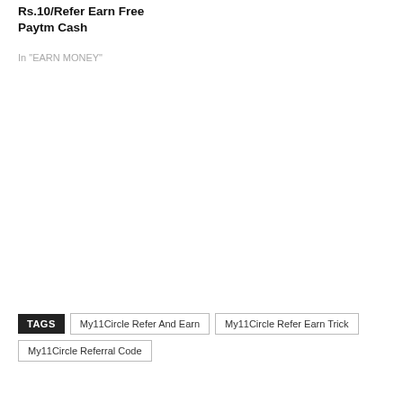Rs.10/Refer Earn Free Paytm Cash
In "EARN MONEY"
TAGS  My11Circle Refer And Earn  My11Circle Refer Earn Trick  My11Circle Referral Code